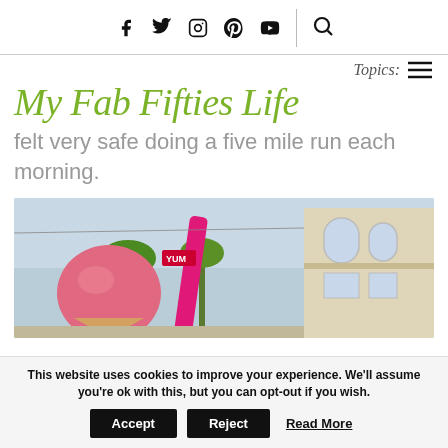Social icons: facebook, twitter, instagram, pinterest, youtube, search
Topics: ≡
My Fab Fifties Life
felt very safe doing a five mile run each morning.
[Figure (photo): Pink ice cream scoop with YUM flag and pink spoon/stick, outdoor street scene with palm trees and building in background]
This website uses cookies to improve your experience. We'll assume you're ok with this, but you can opt-out if you wish. Accept Reject Read More